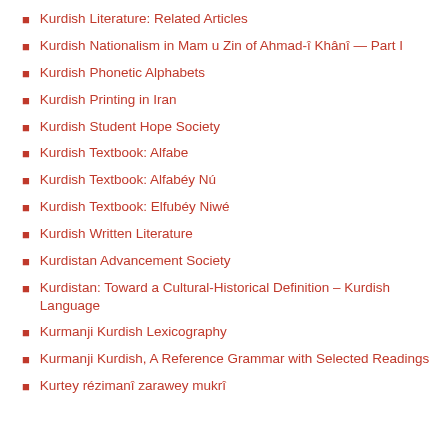Kurdish Literature: Related Articles
Kurdish Nationalism in Mam u Zin of Ahmad-î Khânî — Part I
Kurdish Phonetic Alphabets
Kurdish Printing in Iran
Kurdish Student Hope Society
Kurdish Textbook: Alfabe
Kurdish Textbook: Alfabéy Nú
Kurdish Textbook: Elfubéy Niwé
Kurdish Written Literature
Kurdistan Advancement Society
Kurdistan: Toward a Cultural-Historical Definition – Kurdish Language
Kurmanji Kurdish Lexicography
Kurmanji Kurdish, A Reference Grammar with Selected Readings
Kurtey rézimanî zarawey mukrî